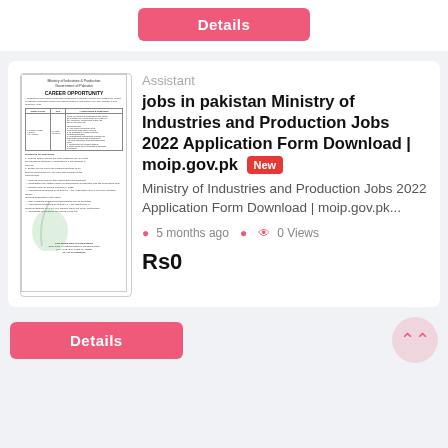Details
[Figure (screenshot): Thumbnail of Ministry of Industries and Production Career Opportunity document with table and green watermark]
Assistant
jobs in pakistan Ministry of Industries and Production Jobs 2022 Application Form Download | moip.gov.pk
Ministry of Industries and Production Jobs 2022 Application Form Download | moip.gov.pk...
5 months ago    0 Views
Rs0
Details